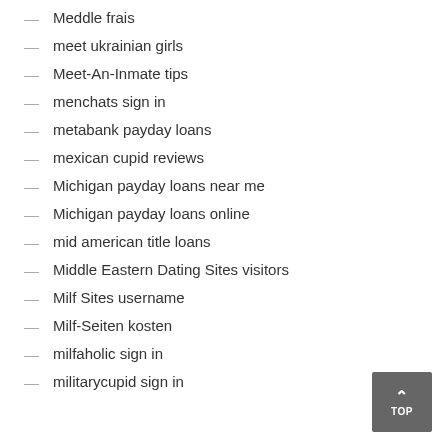Meddle frais
meet ukrainian girls
Meet-An-Inmate tips
menchats sign in
metabank payday loans
mexican cupid reviews
Michigan payday loans near me
Michigan payday loans online
mid american title loans
Middle Eastern Dating Sites visitors
Milf Sites username
Milf-Seiten kosten
milfaholic sign in
militarycupid sign in